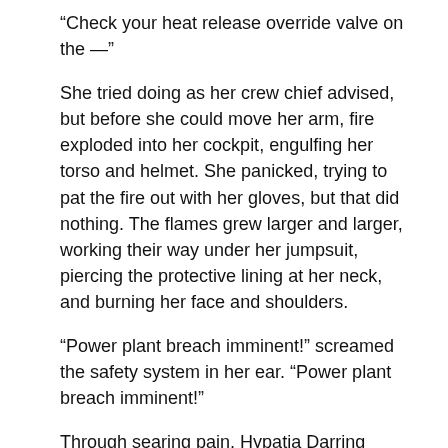“Check your heat release override valve on the —”
She tried doing as her crew chief advised, but before she could move her arm, fire exploded into her cockpit, engulfing her torso and helmet. She panicked, trying to pat the fire out with her gloves, but that did nothing. The flames grew larger and larger, working their way under her jumpsuit, piercing the protective lining at her neck, and burning her face and shoulders.
“Power plant breach imminent!” screamed the safety system in her ear. “Power plant breach imminent!”
Through searing pain, Hypatia Darring reached beneath her cockpit seat, tapped the eject pad, and blew her cockpit enclosure into space. Thrusters beneath her seat erupted, and she tumbled after the cockpit, still strapped into her chair, gasping for air.